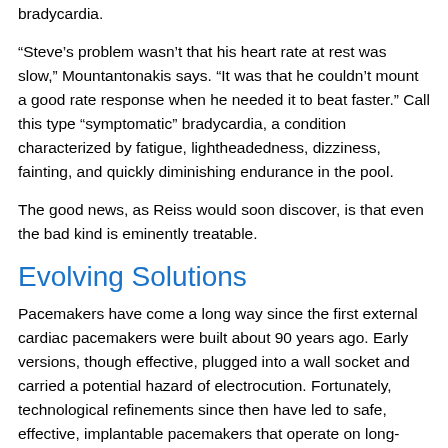bradycardia.
“Steve’s problem wasn’t that his heart rate at rest was slow,” Mountantonakis says. “It was that he couldn’t mount a good rate response when he needed it to beat faster.” Call this type “symptomatic” bradycardia, a condition characterized by fatigue, lightheadedness, dizziness, fainting, and quickly diminishing endurance in the pool.
The good news, as Reiss would soon discover, is that even the bad kind is eminently treatable.
Evolving Solutions
Pacemakers have come a long way since the first external cardiac pacemakers were built about 90 years ago. Early versions, though effective, plugged into a wall socket and carried a potential hazard of electrocution. Fortunately, technological refinements since then have led to safe, effective, implantable pacemakers that operate on long-lasting lithium batteries and faster more advanced algorithms to manage and optimize the